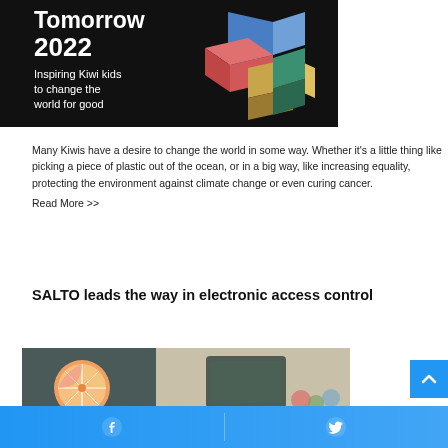[Figure (illustration): Black background promotional image: heading 'Tomorrow 2022', subheading 'Inspiring Kiwi kids to change the world for good', with colorful 3D block shapes on the right in blue, pink, red, orange, dark gold colors.]
Many Kiwis have a desire to change the world in some way. Whether it's a little thing like picking a piece of plastic out of the ocean, or in a big way, like increasing equality, protecting the environment against climate change or even curing cancer.
Read More >>
SALTO leads the way in electronic access control
[Figure (photo): Two side-by-side photos: left shows a halved citrus fruit (grapefruit) on a dark textured surface; right shows a blurred image of an electronic access card or device on a light background with colorful items.]
Facebook | Twitter